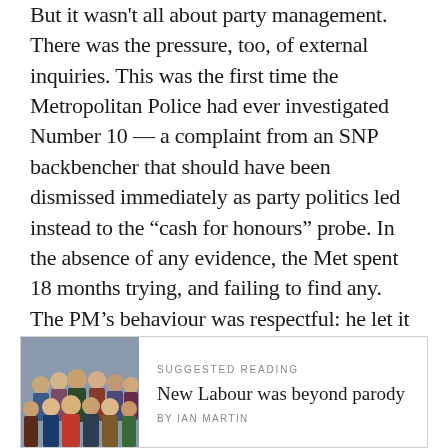But it wasn't all about party management. There was the pressure, too, of external inquiries. This was the first time the Metropolitan Police had ever investigated Number 10 — a complaint from an SNP backbencher that should have been dismissed immediately as party politics led instead to the “cash for honours” probe. In the absence of any evidence, the Met spent 18 months trying, and failing to find any. The PM’s behaviour was respectful: he let it be known that being interviewed under caution would be a resigning matter — a contrast with the attitude of the current Prime Minister. And he unreservedly backed the few of us, including myself, who were questioned by the police. His confidence that it would come to nothing was morale-boosting during a deeply stressful period.
[Figure (photo): Group photo of people posing together, appears to be a political group portrait]
SUGGESTED READING
New Labour was beyond parody
BY IAN MARTIN